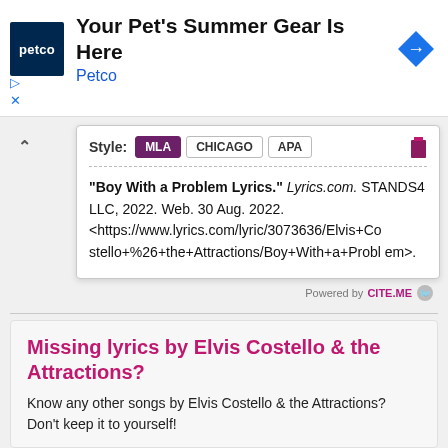[Figure (logo): Petco advertisement banner with Petco logo, text 'Your Pet's Summer Gear Is Here' and 'Petco', and a blue navigation arrow icon]
Style: MLA CHICAGO APA
"Boy With a Problem Lyrics." Lyrics.com. STANDS4 LLC, 2022. Web. 30 Aug. 2022. <https://www.lyrics.com/lyric/3073636/Elvis+Costello+%26+the+Attractions/Boy+With+a+Problem>.
Powered by CITE.ME
Missing lyrics by Elvis Costello & the Attractions?
Know any other songs by Elvis Costello & the Attractions? Don't keep it to yourself!